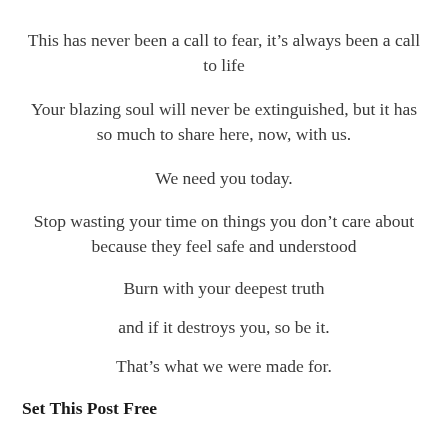This has never been a call to fear, it's always been a call to life
Your blazing soul will never be extinguished, but it has so much to share here, now, with us.
We need you today.
Stop wasting your time on things you don't care about because they feel safe and understood
Burn with your deepest truth
and if it destroys you, so be it.
That's what we were made for.
Set This Post Free